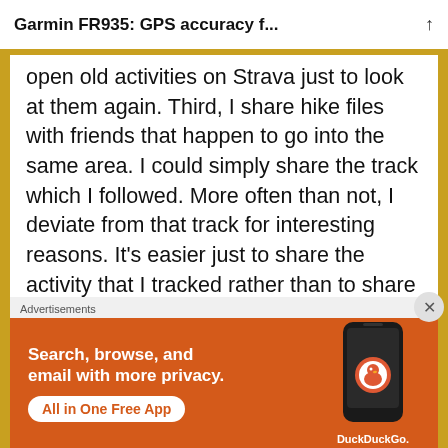Garmin FR935: GPS accuracy f...
open old activities on Strava just to look at them again. Third, I share hike files with friends that happen to go into the same area. I could simply share the track which I followed. More often than not, I deviate from that track for interesting reasons. It’s easier just to share the activity that I tracked rather than to share the track that I followed and explain where I did deviate. (By sharing the activity, immediately they also
Advertisements
[Figure (infographic): DuckDuckGo advertisement banner with orange background showing a smartphone. Text reads: Search, browse, and email with more privacy. All in One Free App. DuckDuckGo logo and wordmark visible.]